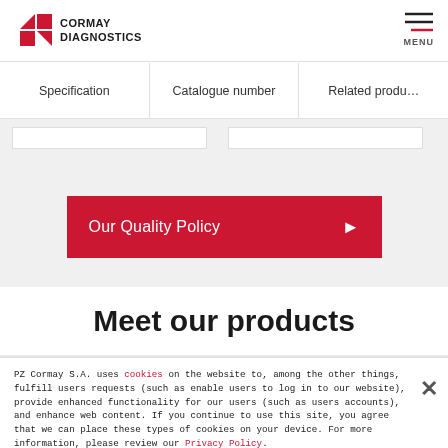[Figure (logo): Cormay Diagnostics logo with red square icon and company name]
MENU
Specification	Catalogue number	Related products
[Figure (other): Red button: Our Quality Policy with arrow]
Meet our products
PZ Cormay S.A. uses cookies on the website to, among the other things, fulfill users requests (such as enable users to log in to our website), provide enhanced functionality for our users (such as users accounts), and enhance web content. If you continue to use this site, you agree that we can place these types of cookies on your device. For more information, please review our Privacy Policy.